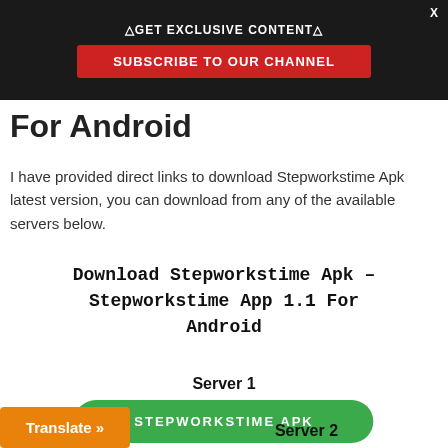△GET EXCLUSIVE CONTENT△
SUBSCRIBE TO OUR CHANNEL
For Android
I have provided direct links to download Stepworkstime Apk latest version, you can download from any of the available servers below.
Download Stepworkstime Apk – Stepworkstime App 1.1 For Android
Server 1
STEPWORKSTIME APK
Translate »
Server 2